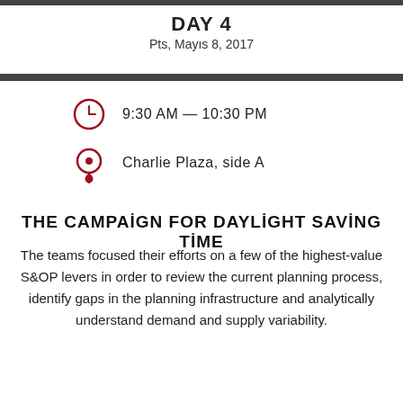DAY 4
Pts, Mayıs 8, 2017
9:30 AM — 10:30 PM
Charlie Plaza, side A
THE CAMPAİGN FOR DAYLİGHT SAVİNG TİME
The teams focused their efforts on a few of the highest-value S&OP levers in order to review the current planning process, identify gaps in the planning infrastructure and analytically understand demand and supply variability.